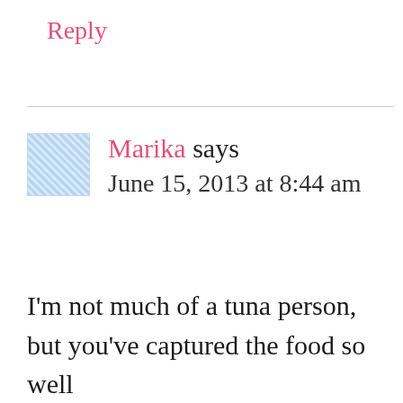Reply
Marika says
June 15, 2013 at 8:44 am
I'm not much of a tuna person, but you've captured the food so well